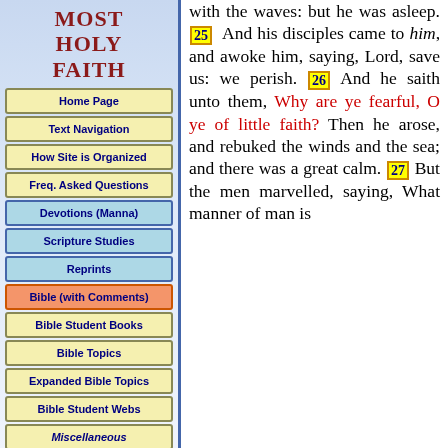MOST HOLY FAITH
Home Page
Text Navigation
How Site is Organized
Freq. Asked Questions
Devotions (Manna)
Scripture Studies
Reprints
Bible (with Comments)
Bible Student Books
Bible Topics
Expanded Bible Topics
Bible Student Webs
Miscellaneous
with the waves: but he was asleep. 25 And his disciples came to him, and awoke him, saying, Lord, save us: we perish. 26 And he saith unto them, Why are ye fearful, O ye of little faith? Then he arose, and rebuked the winds and the sea; and there was a great calm. 27 But the men marvelled, saying, What manner of man is